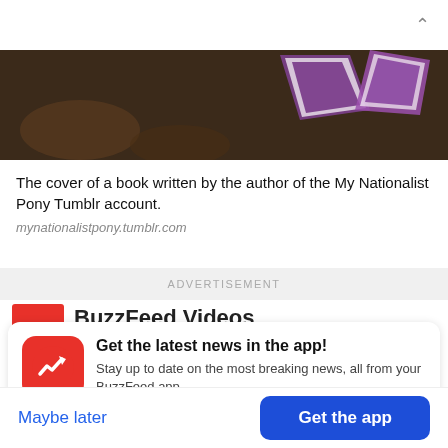[Figure (photo): Top portion of a book cover with purple and white design elements on a dark brown background, partially visible at top of page]
The cover of a book written by the author of the My Nationalist Pony Tumblr account.
mynationalistpony.tumblr.com
ADVERTISEMENT
BuzzFeed Videos
[Figure (logo): BuzzFeed app icon: red circle with white trending arrow logo]
Get the latest news in the app! Stay up to date on the most breaking news, all from your BuzzFeed app.
Maybe later
Get the app